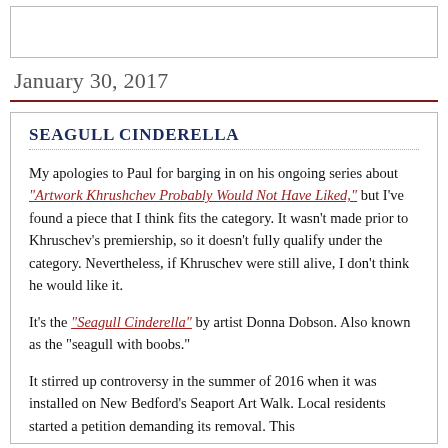[Figure (other): Empty white box at top of page]
January 30, 2017
Seagull Cinderella
My apologies to Paul for barging in on his ongoing series about "Artwork Khrushchev Probably Would Not Have Liked," but I've found a piece that I think fits the category. It wasn't made prior to Khruschev's premiership, so it doesn't fully qualify under the category. Nevertheless, if Khruschev were still alive, I don't think he would like it.
It's the "Seagull Cinderella" by artist Donna Dobson. Also known as the "seagull with boobs."
It stirred up controversy in the summer of 2016 when it was installed on New Bedford's Seaport Art Walk. Local residents started a petition demanding its removal. This